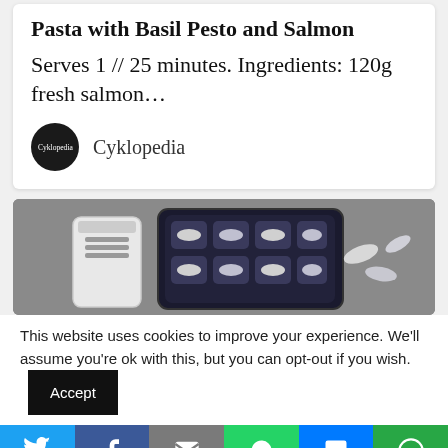Pasta with Basil Pesto and Salmon
Serves 1 // 25 minutes. Ingredients: 120g fresh salmon…
Cyklopedia
[Figure (photo): Top-down photo of a pill bottle and a black pill organizer case filled with capsules on a grey surface]
This website uses cookies to improve your experience. We'll assume you're ok with this, but you can opt-out if you wish. Accept
[Figure (infographic): Social sharing bar with icons for Twitter, Facebook, Email, WhatsApp, SMS, and More]